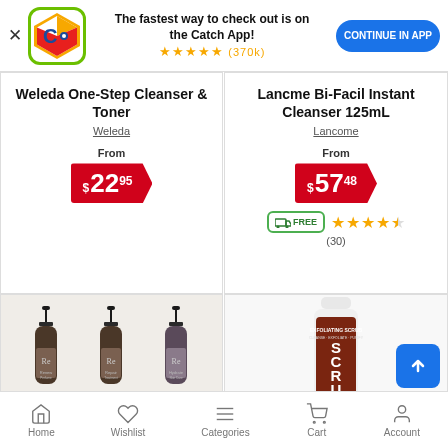[Figure (screenshot): Catch app promotional banner with logo, star rating (370k reviews), and 'Continue in App' button]
Weleda One-Step Cleanser & Toner
Weleda
From $22.95
Lancme Bi-Facil Instant Cleanser 125mL
Lancome
From $57.48
FREE delivery, ★★★★½ (30)
[Figure (photo): Three pump bottles of Re branded hair/skin products]
[Figure (photo): Exfoliating Scrub bottle with brown label reading SCRU]
Home  Wishlist  Categories  Cart  Account